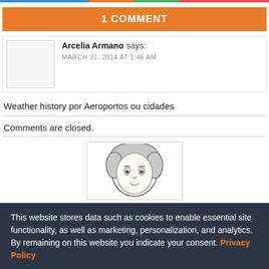1 COMMENT
Arcelia Armano says:
MARCH 31, 2014 AT 1:46 AM
Weather history por Aeroportos ou cidades
Comments are closed.
[Figure (illustration): Cartoon illustration of a woman with curly hair]
This website stores data such as cookies to enable essential site functionality, as well as marketing, personalization, and analytics. By remaining on this website you indicate your consent. Privacy Policy